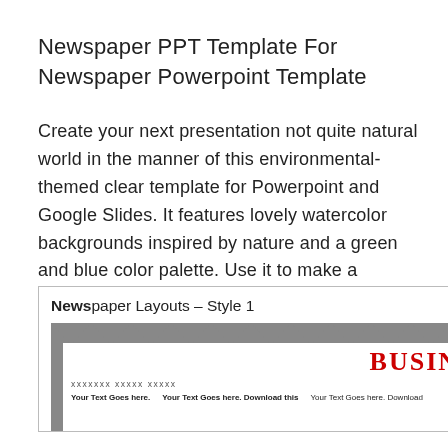Newspaper PPT Template For Newspaper Powerpoint Template
Create your next presentation not quite natural world in the manner of this environmental-themed clear template for Powerpoint and Google Slides. It features lovely watercolor backgrounds inspired by nature and a green and blue color palette. Use it to make a presentation on setting conservation, green energies, wild vivaciousness conservation, natural world or even climate change.
[Figure (screenshot): Preview of a newspaper PowerPoint slide layout labeled 'Newspaper Layouts – Style 1' showing a newspaper template with 'BUSINESS NEWS' headline in red bold serif font on white background with gray zigzag border at top, placeholder text lines, and column footer text reading 'Your Text Goes here. Your Text Goes here. Download this']